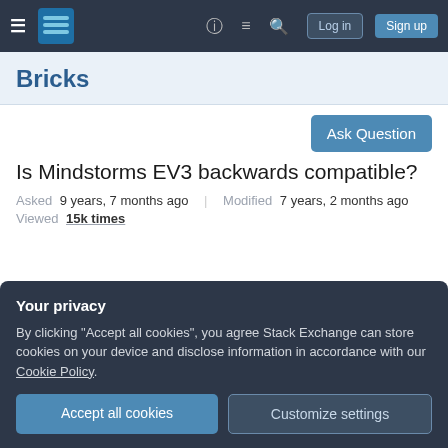≡  [Bricks logo]  ? ≡ 🔍  Log in  Sign up
Bricks
Is Mindstorms EV3 backwards compatible?
Asked 9 years, 7 months ago   Modified 7 years, 2 months ago
Viewed 15k times
Your privacy
By clicking "Accept all cookies", you agree Stack Exchange can store cookies on your device and disclose information in accordance with our Cookie Policy.
Accept all cookies   Customize settings
Does anyone know if the new version, specifically the new bricks, will be backwards compatible with the...